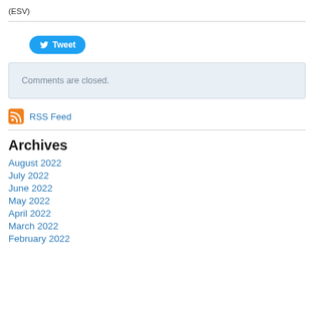(ESV)
[Figure (other): Tweet button with Twitter bird icon]
Comments are closed.
RSS Feed
Archives
August 2022
July 2022
June 2022
May 2022
April 2022
March 2022
February 2022